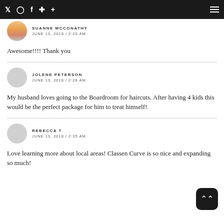Twitter Instagram Facebook Pinterest Plus | Menu
SUANNE MCCONATHY
JUNE 13, 2018 / 2:20 AM
Awesome!!!! Thank you
JOLENE PETERSON
JUNE 13, 2018 / 2:28 AM
My husband loves going to the Boardroom for haircuts. After having 4 kids this would be the perfect package for him to treat himself!
REBECCA T
JUNE 13, 2018 / 2:35 AM
Love learning more about local areas! Classen Curve is so nice and expanding so much!